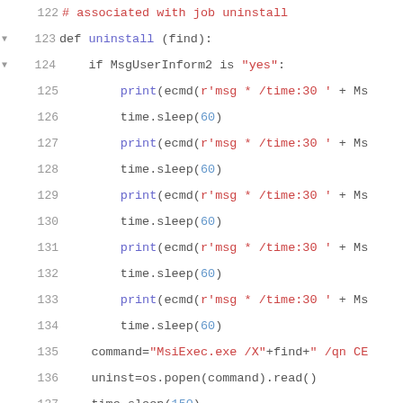[Figure (screenshot): Python source code editor showing lines 122-144 of a script. The code defines an 'uninstall' function that checks MsgUserInform2, runs print/sleep loops, executes MsiExec.exe command, checks registry, and handles reboot endpoint logic.]